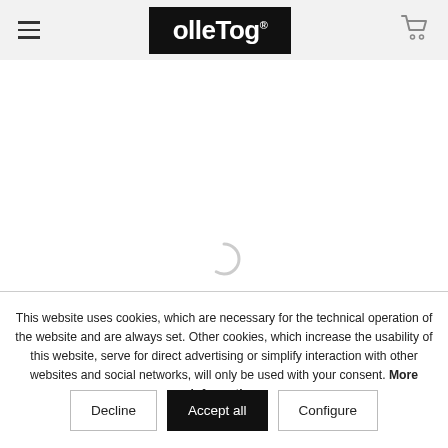[Figure (screenshot): OlleTog website header with hamburger menu icon on left, black OlleTog logo in center, and shopping cart icon on right]
[Figure (other): White content area with partial loading spinner visible at bottom]
This website uses cookies, which are necessary for the technical operation of the website and are always set. Other cookies, which increase the usability of this website, serve for direct advertising or simplify interaction with other websites and social networks, will only be used with your consent. More information
Decline | Accept all | Configure